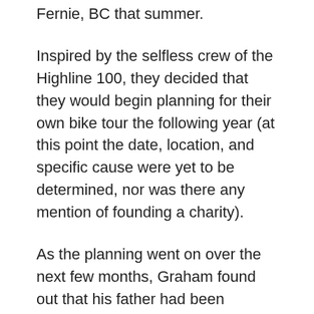Fernie, BC that summer.
Inspired by the selfless crew of the Highline 100, they decided that they would begin planning for their own bike tour the following year (at this point the date, location, and specific cause were yet to be determined, nor was there any mention of founding a charity).
As the planning went on over the next few months, Graham found out that his father had been diagnosed with Parkinson’s disease, another degenerative neurological condition. Thus began the discussion to broaden the focus of the funds raised at the yet to be held (or named) Branch Out Bike Tour.
After several months of planning and meetings, and